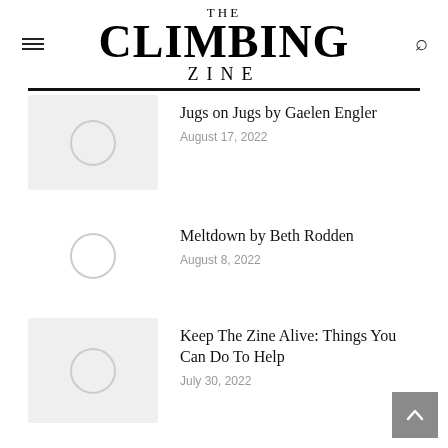THE CLIMBING ZINE
Jugs on Jugs by Gaelen Engler
August 17, 2022
Meltdown by Beth Rodden
August 8, 2022
Keep The Zine Alive: Things You Can Do To Help
July 30, 2022